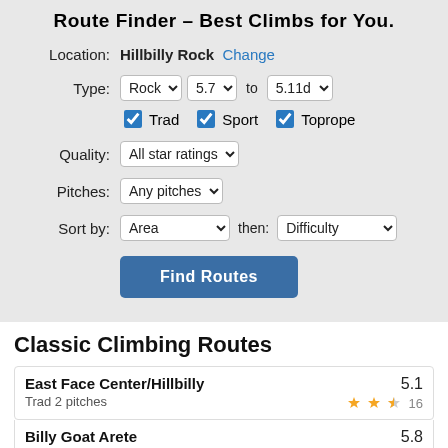Route Finder – Best Climbs for You.
Location: Hillbilly Rock Change
Type: Rock  5.7  to  5.11d  ☑ Trad  ☑ Sport  ☑ Toprope
Quality: All star ratings
Pitches: Any pitches
Sort by: Area  then: Difficulty
Find Routes
Classic Climbing Routes
East Face Center/Hillbilly  5.1  Trad 2 pitches  ★★½ 16
Billy Goat Arete